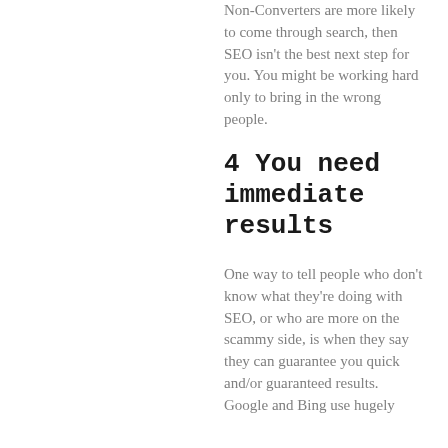Non-Converters are more likely to come through search, then SEO isn't the best next step for you. You might be working hard only to bring in the wrong people.
4 You need immediate results
One way to tell people who don't know what they're doing with SEO, or who are more on the scammy side, is when they say they can guarantee you quick and/or guaranteed results. Google and Bing use hugely